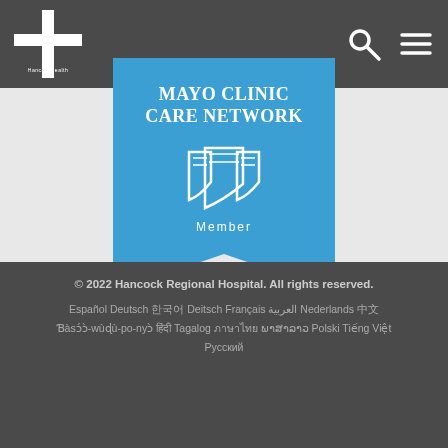Hancock Health
[Figure (logo): Mayo Clinic Care Network Member badge — a blue pennant/banner shape with white text reading MAYO CLINIC CARE NETWORK, a triple-shield logo, and the word Member]
© 2022 Hancock Regional Hospital. All rights reserved. Español Deutsch 한국어 Deitsch Français العربية Nederlands 中文 Ɓàsɔ́ɔ̀-wùɖù-po-nyɔ̀ हिंदी Tagalog ภาษาไทย ລາວ Polski Tiếng Việt Русский